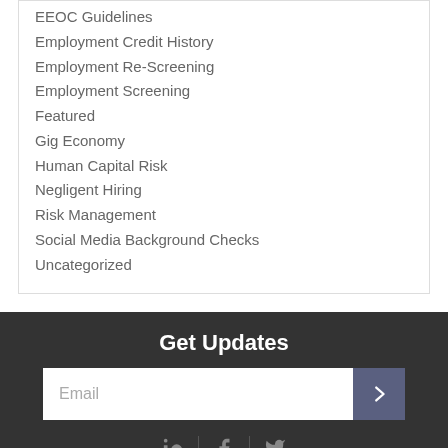EEOC Guidelines
Employment Credit History
Employment Re-Screening
Employment Screening
Featured
Gig Economy
Human Capital Risk
Negligent Hiring
Risk Management
Social Media Background Checks
Uncategorized
Get Updates
Email
[Figure (other): Social media icons: LinkedIn, Facebook, Twitter with dividers]